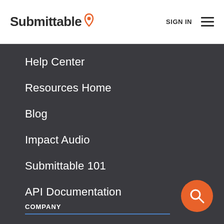Submittable [logo] | SIGN IN [menu]
Help Center
Resources Home
Blog
Impact Audio
Submittable 101
API Documentation
COMPANY